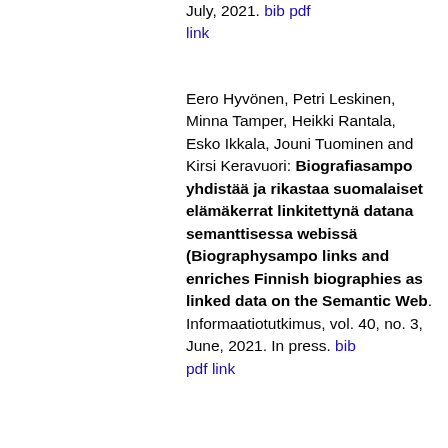July, 2021. bib pdf link
Eero Hyvönen, Petri Leskinen, Minna Tamper, Heikki Rantala, Esko Ikkala, Jouni Tuominen and Kirsi Keravuori: Biografiasampo yhdistää ja rikastaa suomalaiset elämäkerrat linkitettynä datana semanttisessa webissä (Biographysampo links and enriches Finnish biographies as linked data on the Semantic Web. Informaatiotutkimus, vol. 40, no. 3, June, 2021. In press. bib pdf link